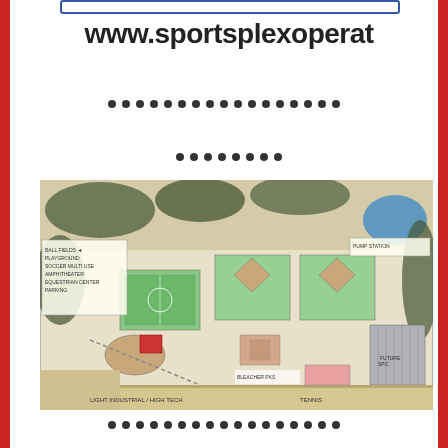www.sportsplexoperat
[Figure (map): Aerial site plan map of a sportsplexcomplex showing ball fields, playground, soccer multi-use, amphitheater, equestrian center, parking areas, and surrounding land uses including light industrial/high tech and tennis areas. The map is a colored architectural/landscape plan view.]